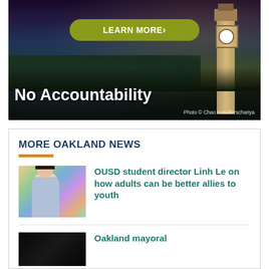[Figure (photo): Advertisement banner with nighttime cityscape of Berkeley/Oakland with Campanile tower, olive-green 'LEARN MORE>' button, bold white text 'No Accountability', photo credit to Chao Kusollerschariya]
MORE OAKLAND NEWS
[Figure (photo): Thumbnail photo of a young woman standing in front of a colorful graffiti wall]
OUSD student director Linh Le on how adults can be better allies to youth
[Figure (photo): Dark thumbnail photo, partially visible]
Oakland mayoral